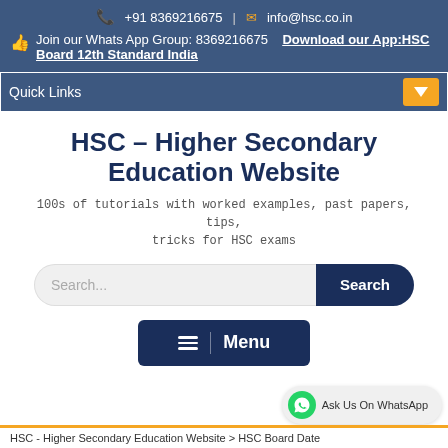+918369216675  info@hsc.co.in  Join our Whats App Group: 8369216675  Download our App:HSC Board 12th Standard India
Quick Links
HSC – Higher Secondary Education Website
100s of tutorials with worked examples, past papers, tips, tricks for HSC exams
Search...  Search
≡ | Menu
Ask Us On WhatsApp
HSC - Higher Secondary Education Website > HSC Board Date